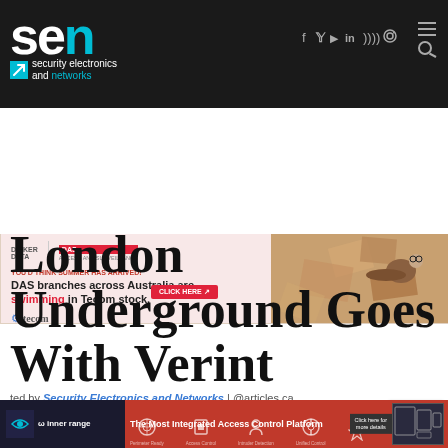sen security electronics and networks
[Figure (screenshot): Advertisement banner for DAS / Dicker Data / Tecom: 'YOU'D THINK SUMMER HAS ARRIVED! DAS branches across Australia are swimming in Tecom stock.' with click here button and swimmer image]
London Underground Goes With Verint
ted by Security Electronics and Networks | @articles ca
[Figure (screenshot): Inner Range advertisement banner: 'The Most Integrated Access Control Platform' with icons and click here for more details button]